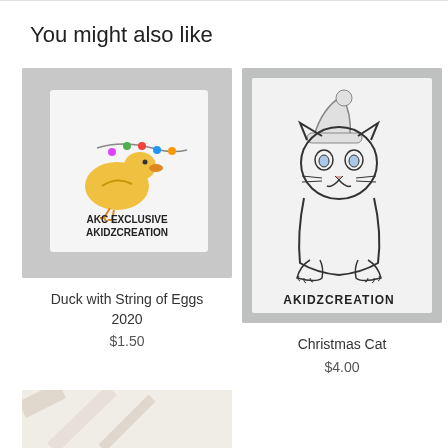You might also like
[Figure (photo): Product photo of embroidered fabric showing a yellow duck with a string of colorful lights/eggs, with text 'AKC EXCLUSIVE AKIDZCREATION']
Duck with String of Eggs 2020
$1.50
[Figure (photo): Product photo of fabric showing a line-drawing style Christmas cat wearing a Santa hat, with text 'AKIDZCREATION']
Christmas Cat
$4.00
[Figure (photo): Partial product photo visible at bottom of page, showing diagonal stripe pattern on light fabric]